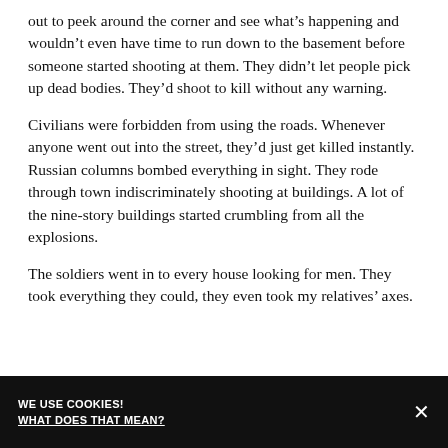out to peek around the corner and see what’s happening and wouldn’t even have time to run down to the basement before someone started shooting at them. They didn’t let people pick up dead bodies. They’d shoot to kill without any warning.
Civilians were forbidden from using the roads. Whenever anyone went out into the street, they’d just get killed instantly. Russian columns bombed everything in sight. They rode through town indiscriminately shooting at buildings. A lot of the nine-story buildings started crumbling from all the explosions.
The soldiers went in to every house looking for men. They took everything they could, they even took my relatives’ axes.
WE USE COOKIES! WHAT DOES THAT MEAN? ×